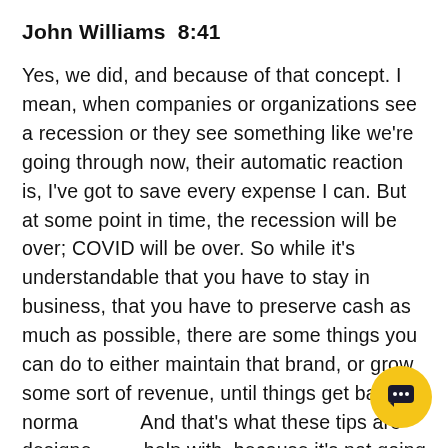John Williams  8:41
Yes, we did, and because of that concept. I mean, when companies or organizations see a recession or they see something like we're going through now, their automatic reaction is, I've got to save every expense I can. But at some point in time, the recession will be over; COVID will be over. So while it's understandable that you have to stay in business, that you have to preserve cash as much as possible, there are some things you can do to either maintain that brand, or grow some sort of revenue, until things get back to normal. And that's what these tips are designed to help with, because it's not going to be easy.